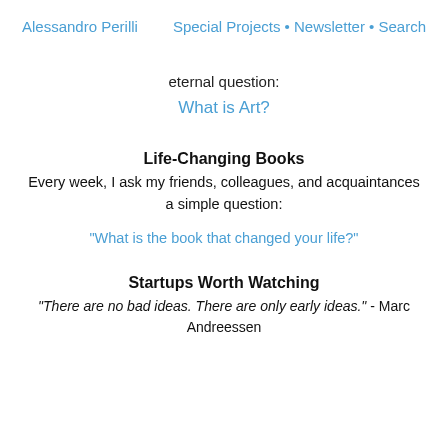Alessandro Perilli   Special Projects • Newsletter • Search
eternal question:
What is Art?
Life-Changing Books
Every week, I ask my friends, colleagues, and acquaintances a simple question:
"What is the book that changed your life?"
Startups Worth Watching
"There are no bad ideas. There are only early ideas." - Marc Andreessen